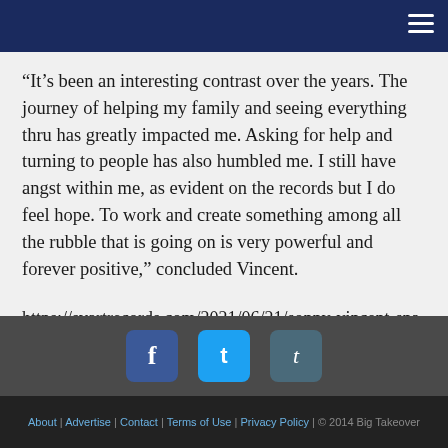“It’s been an interesting contrast over the years. The journey of helping my family and seeing everything thru has greatly impacted me. Asking for help and turning to people has also humbled me. I still have angst within me, as evident on the records but I do feel hope. To work and create something among all the rubble that is going on is very powerful and forever positive,” concluded Vincent.
https://svartrecords.com/2021/06/21/sonny-vincent-snake-pit-therapy-out-on-svart-records-in-september/
https://sonnyvincenttestors.bandcamp.com/merch
About | Advertise | Contact | Terms of Use | Privacy Policy | © 2014 Big Takeover